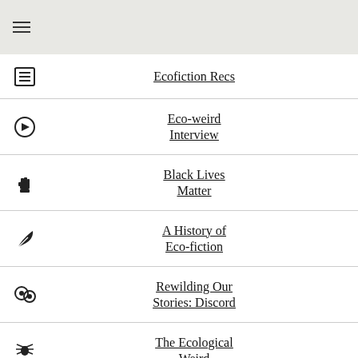≡
Ecofiction Recs
Eco-weird Interview
Black Lives Matter
A History of Eco-fiction
Rewilding Our Stories: Discord
The Ecological Weird
Social Impact Survey Results
Around the World in 80 Books